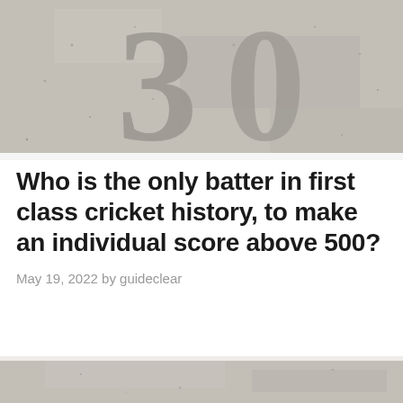[Figure (photo): Close-up of metal or stone number 3 (possibly 30 or 300) on a gray concrete textured background]
Who is the only batter in first class cricket history, to make an individual score above 500?
May 19, 2022 by guideclear
[Figure (photo): Gray concrete textured background, partial view at bottom of page]